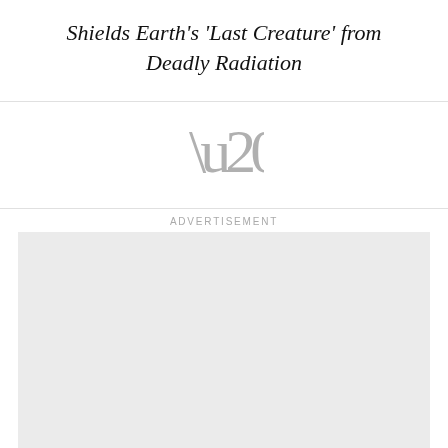Shields Earth's 'Last Creature' from Deadly Radiation
[Figure (illustration): Large decorative opening quotation mark in gray]
ADVERTISEMENT
[Figure (other): Gray advertisement placeholder box]